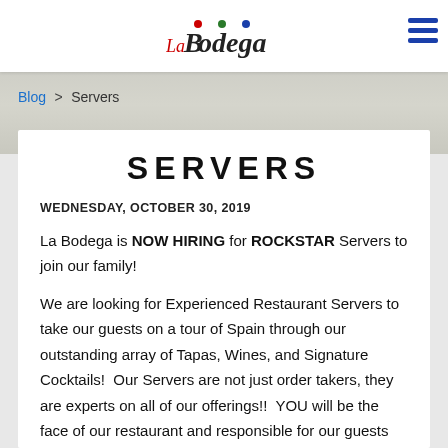La Bodega
Blog > Servers
SERVERS
WEDNESDAY, OCTOBER 30, 2019
La Bodega is NOW HIRING for ROCKSTAR Servers to join our family!
We are looking for Experienced Restaurant Servers to take our guests on a tour of Spain through our outstanding array of Tapas, Wines, and Signature Cocktails!  Our Servers are not just order takers, they are experts on all of our offerings!!  YOU will be the face of our restaurant and responsible for our guests dining experience. Server